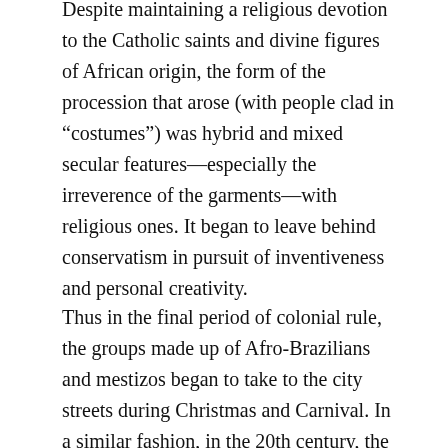Despite maintaining a religious devotion to the Catholic saints and divine figures of African origin, the form of the procession that arose (with people clad in “costumes”) was hybrid and mixed secular features—especially the irreverence of the garments—with religious ones. It began to leave behind conservatism in pursuit of inventiveness and personal creativity.
Thus in the final period of colonial rule, the groups made up of Afro-Brazilians and mestizos began to take to the city streets during Christmas and Carnival. In a similar fashion, in the 20th century, the intrepid